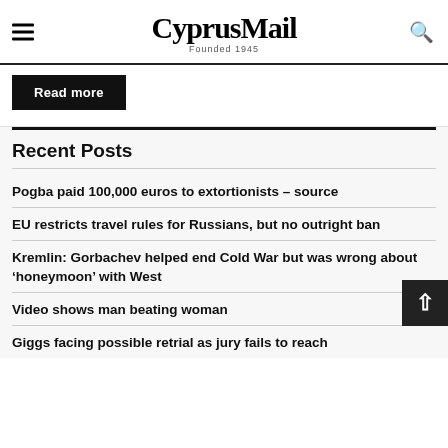CyprusMail Founded 1945
Read more
Recent Posts
Pogba paid 100,000 euros to extortionists – source
EU restricts travel rules for Russians, but no outright ban
Kremlin: Gorbachev helped end Cold War but was wrong about 'honeymoon' with West
Video shows man beating woman
Giggs facing possible retrial as jury fails to reach